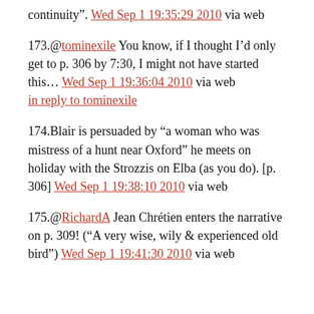continuity". Wed Sep 1 19:35:29 2010 via web
173.@tominexile You know, if I thought I'd only get to p. 306 by 7:30, I might not have started this... Wed Sep 1 19:36:04 2010 via web in reply to tominexile
174.Blair is persuaded by “a woman who was mistress of a hunt near Oxford” he meets on holiday with the Strozzis on Elba (as you do). [p. 306] Wed Sep 1 19:38:10 2010 via web
175.@RichardA Jean Chrétien enters the narrative on p. 309! (“A very wise, wily & experienced old bird”) Wed Sep 1 19:41:30 2010 via web